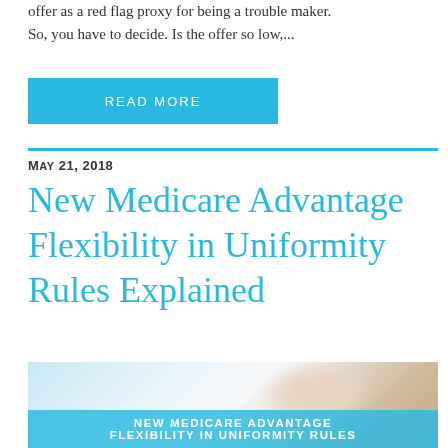offer as a red flag proxy for being a trouble maker. So, you have to decide. Is the offer so low,...
READ MORE
May 21, 2018
New Medicare Advantage Flexibility in Uniformity Rules Explained
[Figure (photo): Medical professional wearing scrubs and surgical mask, with overlay text reading NEW MEDICARE ADVANTAGE FLEXIBILITY IN UNIFORMITY RULES]